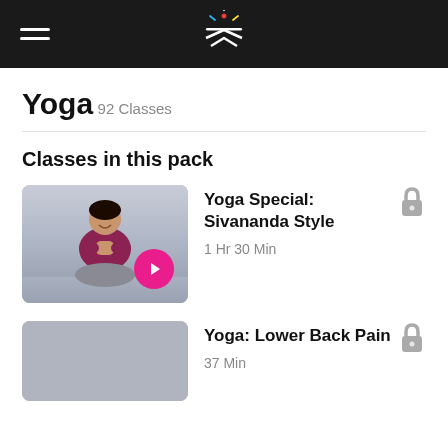Yoga
Yoga
92 Classes
Classes in this pack
[Figure (photo): Woman in yoga pose with hands in prayer position, sitting cross-legged, wearing dark red top]
Yoga Special: Sivananda Style
1 Hr 30 Min
[Figure (photo): Blurred/grey thumbnail for second yoga class]
Yoga: Lower Back Pain
37 Min